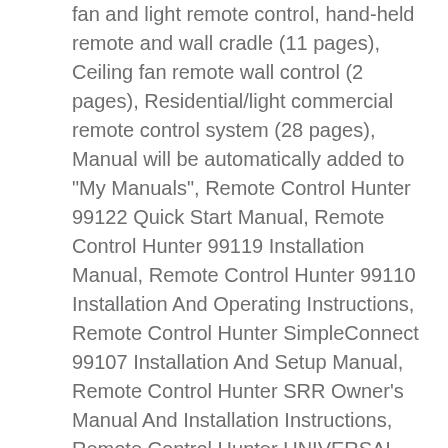fan and light remote control, hand-held remote and wall cradle (11 pages), Ceiling fan remote wall control (2 pages), Residential/light commercial remote control system (28 pages), Manual will be automatically added to "My Manuals", Remote Control Hunter 99122 Quick Start Manual, Remote Control Hunter 99119 Installation Manual, Remote Control Hunter 99110 Installation And Operating Instructions, Remote Control Hunter SimpleConnect 99107 Installation And Setup Manual, Remote Control Hunter SRR Owner's Manual And Installation Instructions, Remote Control Hunter UNIVERSAL FAN AND LIGHT REMOTE CONTROL 27184 Owners And Installation Manual, Remote Control Hunter 85095 Instruction Supplement, Remote Control Hunter 27157 Instruction Manual, Remote Control Hunter Ceiling Fan & Video Owner's Manual, Remote Control Hunter ROAM XL Owners Manual And